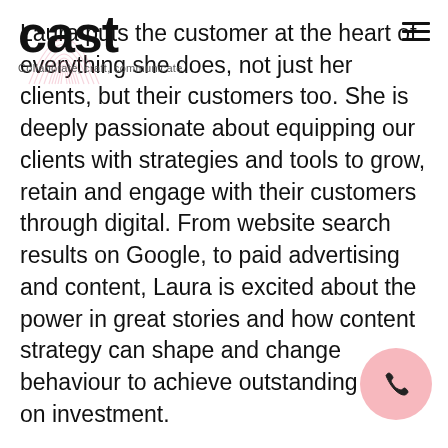[Figure (logo): CAST logo with fingerprint/arc graphic and tagline 'Collaborate, craft, communicate.']
Laura puts the customer at the heart of everything she does, not just her clients, but their customers too. She is deeply passionate about equipping our clients with strategies and tools to grow, retain and engage with their customers through digital. From website search results on Google, to paid advertising and content, Laura is excited about the power in great stories and how content strategy can shape and change behaviour to achieve outstanding return on investment.

Continually creating and innovating for all our clients, her role is both a creative and analytical process. From coming up with content ideas for blogs, designing landing page layouts for optimum conversion and writing ad copy to display in Google,